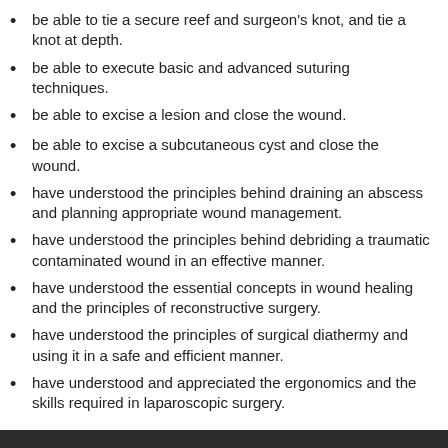be able to tie a secure reef and surgeon's knot, and tie a knot at depth.
be able to execute basic and advanced suturing techniques.
be able to excise a lesion and close the wound.
be able to excise a subcutaneous cyst and close the wound.
have understood the principles behind draining an abscess and planning appropriate wound management.
have understood the principles behind debriding a traumatic contaminated wound in an effective manner.
have understood the essential concepts in wound healing and the principles of reconstructive surgery.
have understood the principles of surgical diathermy and using it in a safe and efficient manner.
have understood and appreciated the ergonomics and the skills required in laparoscopic surgery.
We use cookies to personalise content and ads, to provide social media features and to analyse our traffic. We also share information about your use of our site with our social media, advertising and analytics partners. Our privacy and cookie policy Show Vendors